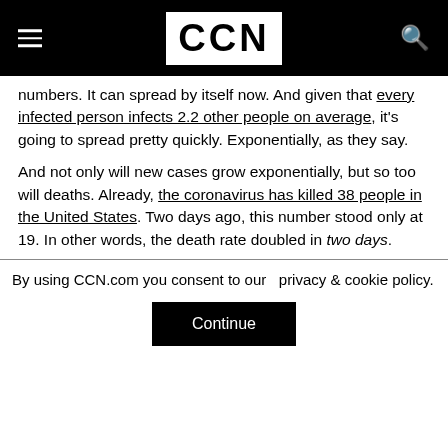CCN
numbers. It can spread by itself now. And given that every infected person infects 2.2 other people on average, it's going to spread pretty quickly. Exponentially, as they say.
And not only will new cases grow exponentially, but so too will deaths. Already, the coronavirus has killed 38 people in the United States. Two days ago, this number stood only at 19. In other words, the death rate doubled in two days.
By using CCN.com you consent to our  privacy & cookie policy.
Continue